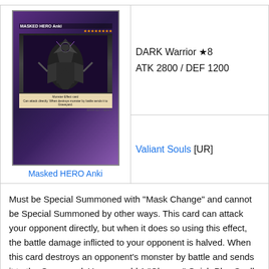[Figure (illustration): Masked HERO Anki trading card image with dark purple border and warrior figure]
Masked HERO Anki
DARK Warrior ★8
ATK 2800 / DEF 1200
Valiant Souls [UR]
Must be Special Summoned with "Mask Change" and cannot be Special Summoned by other ways. This card can attack your opponent directly, but when it does so using this effect, the battle damage inflicted to your opponent is halved. When this card destroys an opponent's monster by battle and sends it to the Graveyard: You can add 1 "Change" Quick-Play Spell Card from your Deck to your hand. You can only use this effect of "Masked HERO Anki" once per turn.
High ATK and the effect helps with more follow-up. Being able to attack di...ecks.
When att...during